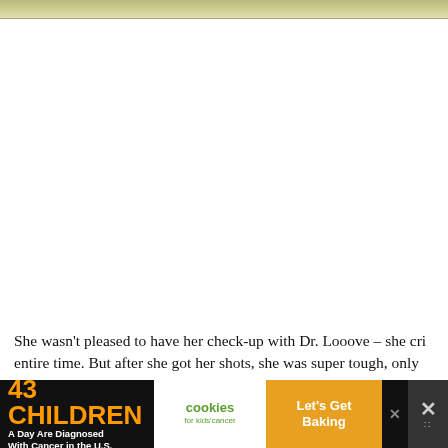[Figure (photo): Partial top strip of a photo showing a wooden or bamboo surface with yellowish-green tones, cropped at top of page.]
She wasn't pleased to have her check-up with Dr. Looove – she cri entire time. But after she got her shots, she was super tough, only moment. Her sister would be so proud.
[Figure (infographic): Advertisement banner: '43 CHILDREN A Day Are Diagnosed With Cancer in the U.S.' with cookies for kids' cancer logo and 'Let's Get Baking' button on orange background.]